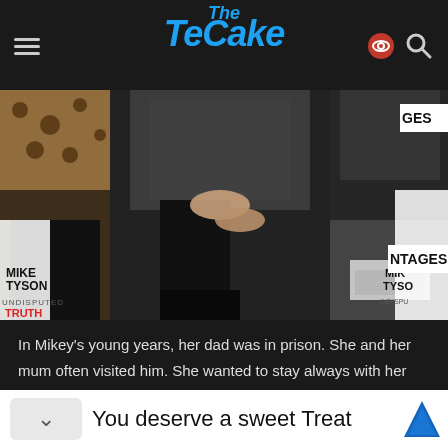The TeCake
[Figure (photo): People at a Mike Tyson Undisputed Truth event, cropped showing bodies from waist down, with event backdrop visible. NTAGES signage on the right.]
In Mikey's young years, her dad was in prison. She and her mum often visited him. She wanted to stay always with her dad, and it broke her heart when she was about to leave. He usually sent her toys, such as dolls and teddies.
You deserve a sweet Treat